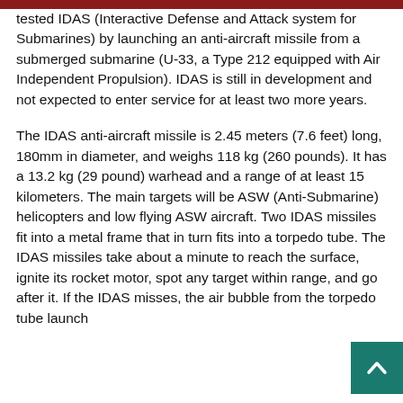tested IDAS (Interactive Defense and Attack system for Submarines) by launching an anti-aircraft missile from a submerged submarine (U-33, a Type 212 equipped with Air Independent Propulsion). IDAS is still in development and not expected to enter service for at least two more years.
The IDAS anti-aircraft missile is 2.45 meters (7.6 feet) long, 180mm in diameter, and weighs 118 kg (260 pounds). It has a 13.2 kg (29 pound) warhead and a range of at least 15 kilometers. The main targets will be ASW (Anti-Submarine) helicopters and low flying ASW aircraft. Two IDAS missiles fit into a metal frame that in turn fits into a torpedo tube. The IDAS missiles take about a minute to reach the surface, ignite its rocket motor, spot any target within range, and go after it. If the IDAS misses, the air bubble from the torpedo tube launch